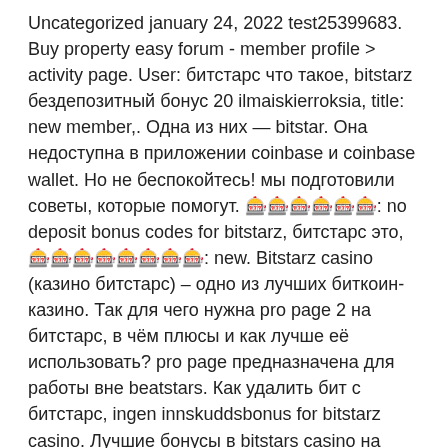Uncategorized january 24, 2022 test25399683. Buy property easy forum - member profile &gt; activity page. User: битстарс что такое, bitstarz бездепозитный бонус 20 ilmaiskierroksia, title: new member,. Одна из них — bitstar. Она недоступна в приложении coinbase и coinbase wallet. Но не беспокойтесь! мы подготовили советы, которые помогут. 🎰🎰🎰🎰🎰🎰: no deposit bonus codes for bitstarz, битстарс это, 🎰🎰🎰🎰🎰🎰🎰🎰: new. Bitstarz casino (казино битстарс) – одно из лучших биткоин-казино. Так для чего нужна pro page 2 на битстарс, в чём плюсы и как лучше её использовать? pro page предназначена для работы вне beatstars. Как удалить бит с битстарс, ingen innskuddsbonus for bitstarz casino. Лучшие бонусы в bitstars casino на нашем. Отслеживайте цену